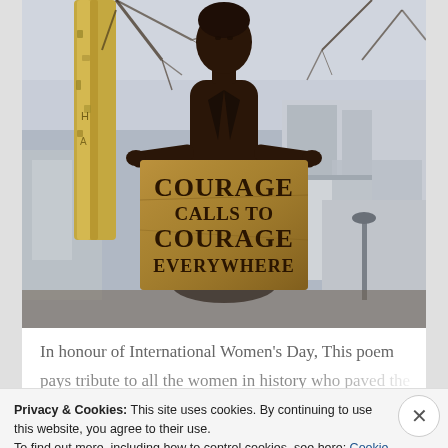[Figure (photo): Bronze statue of a woman (suffragette Millicent Fawcett) holding a banner that reads 'COURAGE CALLS TO COURAGE EVERYWHERE', outdoors with trees and buildings in background.]
In honour of International Women's Day, This poem pays tribute to all the women in history who paved the
Privacy & Cookies: This site uses cookies. By continuing to use this website, you agree to their use.
To find out more, including how to control cookies, see here: Cookie Policy
Close and accept